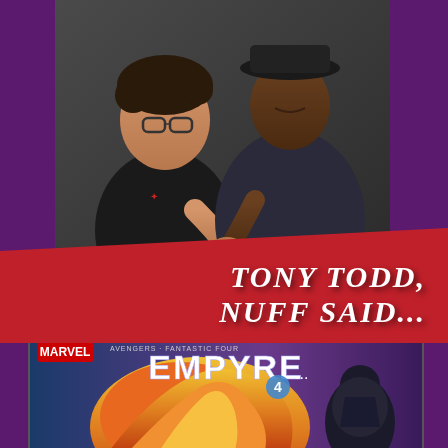[Figure (photo): Two men arm-wrestling or gripping hands in a playful pose for a photo. The man on the left has curly dark hair and glasses, wearing a black t-shirt. The man on the right is taller, wearing a hat and dark blazer.]
TONY TODD, NUFF SAID...
[Figure (photo): Marvel comic book cover: Avengers + Fantastic Four EMPYRE #4, showing dramatic fire and dark energy imagery with superheroes.]